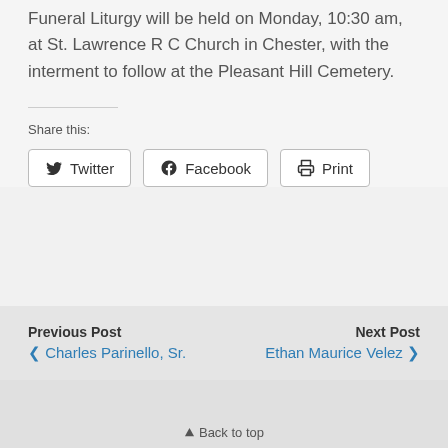Funeral Liturgy will be held on Monday, 10:30 am, at St. Lawrence R C Church in Chester, with the interment to follow at the Pleasant Hill Cemetery.
Share this:
[Figure (other): Social share buttons: Twitter, Facebook, Print]
Previous Post: Charles Parinello, Sr. | Next Post: Ethan Maurice Velez
Back to top